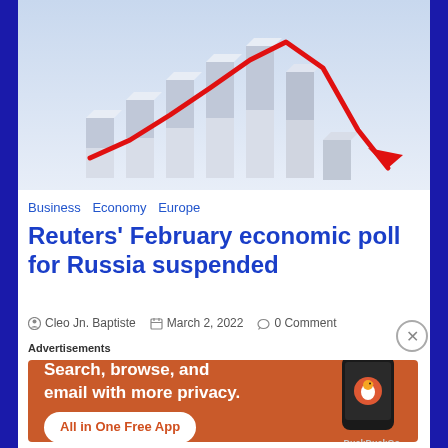[Figure (illustration): Declining bar chart with red downward arrow line over white 3D bars on blue background, representing economic decline]
Business  Economy  Europe
Reuters' February economic poll for Russia suspended
Cleo Jn. Baptiste   March 2, 2022   0 Comment
Advertisements
[Figure (screenshot): DuckDuckGo advertisement banner: Search, browse, and email with more privacy. All in One Free App. Shows DuckDuckGo logo and phone mockup.]